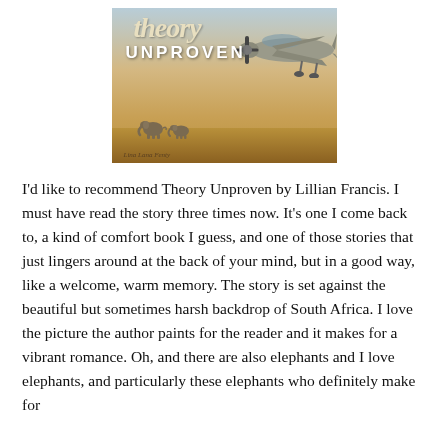[Figure (illustration): Book cover for 'Theory Unproven' by Lillian Francis. Shows a vintage propeller airplane on an African savanna with elephants in the background. Warm golden/brown tones with a vintage aesthetic. Cursive 'theory' text and bold 'UNPROVEN' text overlay the top of the image.]
I'd like to recommend Theory Unproven by Lillian Francis. I must have read the story three times now. It's one I come back to, a kind of comfort book I guess, and one of those stories that just lingers around at the back of your mind, but in a good way, like a welcome, warm memory. The story is set against the beautiful but sometimes harsh backdrop of South Africa. I love the picture the author paints for the reader and it makes for a vibrant romance. Oh, and there are also elephants and I love elephants, and particularly these elephants who definitely make for a good deal of conversation between us. There and here we go again...